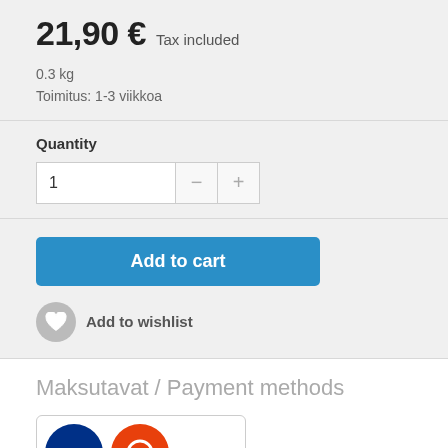21,90 € Tax included
0.3 kg
Toimitus: 1-3 viikkoa
Quantity
Add to cart
Add to wishlist
Maksutavat / Payment methods
[Figure (logo): Payment method logos including Nordea, OP, Aktia/S-pankki]